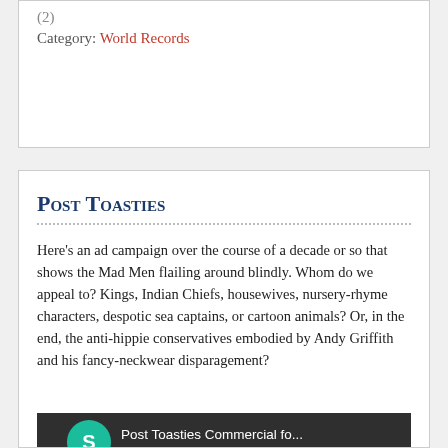(2)
Category: World Records
Post Toasties
Here's an ad campaign over the course of a decade or so that shows the Mad Men flailing around blindly. Whom do we appeal to? Kings, Indian Chiefs, housewives, nursery-rhyme characters, despotic sea captains, or cartoon animals? Or, in the end, the anti-hippie conservatives embodied by Andy Griffith and his fancy-neckwear disparagement?
[Figure (screenshot): Video thumbnail showing a YouTube-style video player with a teal circle avatar with 'S', title 'Post Toasties Commercial fo...' and a three-dot menu. The video shows animated Native American characters in black and white cartoon style with one having a red detail.]